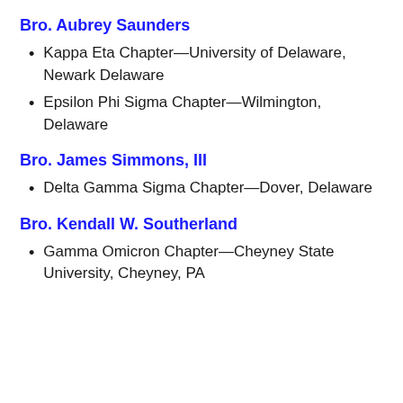Bro. Aubrey Saunders
Kappa Eta Chapter—University of Delaware, Newark Delaware
Epsilon Phi Sigma Chapter—Wilmington, Delaware
Bro. James Simmons, III
Delta Gamma Sigma Chapter—Dover, Delaware
Bro. Kendall W. Southerland
Gamma Omicron Chapter—Cheyney State University, Cheyney, PA